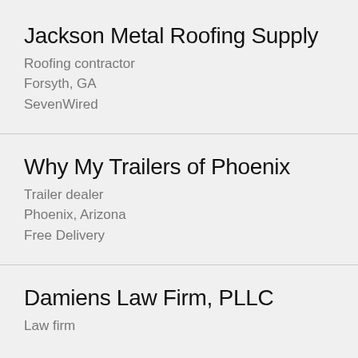Jackson Metal Roofing Supply
Roofing contractor
Forsyth, GA
SevenWired
Why My Trailers of Phoenix
Trailer dealer
Phoenix, Arizona
Free Delivery
Damiens Law Firm, PLLC
Law firm